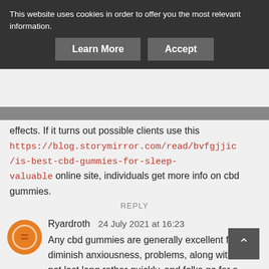This website uses cookies in order to offer you the most relevant information.
Learn More   Accept
effects. If it turns out possible clients use this https://blog.storymirror.com/read/bvfgjjic/is-best-cbd-gummies-for-sleep-valuable online site, individuals get more info on cbd gummies.
REPLY
Ryardroth   24 July 2021 at 16:23
Any cbd gummies are generally excellent for diminish anxiousness, problems, along with does not last long rather quickly, and folks go for a much